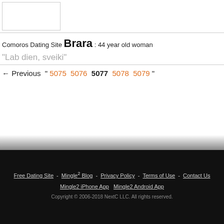[Figure (photo): Empty white image placeholder box with light gray border]
Comoros Dating Site Brara : 44 year old woman
"Lab dien, sveiki"
← Previous " 5075  5076  5077  5078  5079 "
Free Dating Site - Mingle2 Blog - Privacy Policy - Terms of Use - Contact Us   Mingle2 iPhone App   Mingle2 Android App
Copyright © 2006-2018 NextC LLC. All rights reserved.